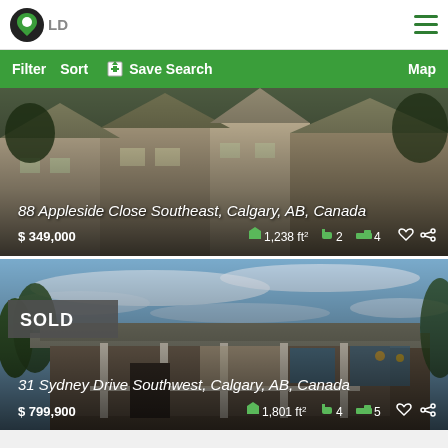Logo | Hamburger menu
Filter  Sort  Save Search  Map
[Figure (photo): Photo of townhouse row at 88 Appleside Close Southeast, Calgary, AB, Canada. Price $349,000. 1,238 ft² 2 bathrooms 4 bedrooms.]
[Figure (photo): Photo of bungalow at 31 Sydney Drive Southwest, Calgary, AB, Canada. Marked SOLD. Price $799,900. 1,801 ft² 4 bathrooms 5 bedrooms.]